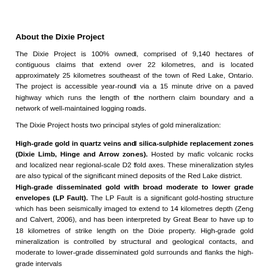About the Dixie Project
The Dixie Project is 100% owned, comprised of 9,140 hectares of contiguous claims that extend over 22 kilometres, and is located approximately 25 kilometres southeast of the town of Red Lake, Ontario. The project is accessible year-round via a 15 minute drive on a paved highway which runs the length of the northern claim boundary and a network of well-maintained logging roads.
The Dixie Project hosts two principal styles of gold mineralization:
High-grade gold in quartz veins and silica-sulphide replacement zones (Dixie Limb, Hinge and Arrow zones). Hosted by mafic volcanic rocks and localized near regional-scale D2 fold axes. These mineralization styles are also typical of the significant mined deposits of the Red Lake district.
High-grade disseminated gold with broad moderate to lower grade envelopes (LP Fault). The LP Fault is a significant gold-hosting structure which has been seismically imaged to extend to 14 kilometres depth (Zeng and Calvert, 2006), and has been interpreted by Great Bear to have up to 18 kilometres of strike length on the Dixie property. High-grade gold mineralization is controlled by structural and geological contacts, and moderate to lower-grade disseminated gold surrounds and flanks the high-grade intervals